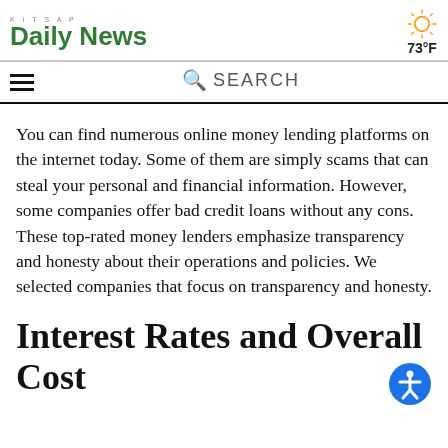KITSAP Daily News | 73°F
You can find numerous online money lending platforms on the internet today. Some of them are simply scams that can steal your personal and financial information. However, some companies offer bad credit loans without any cons. These top-rated money lenders emphasize transparency and honesty about their operations and policies. We selected companies that focus on transparency and honesty.
Interest Rates and Overall Cost